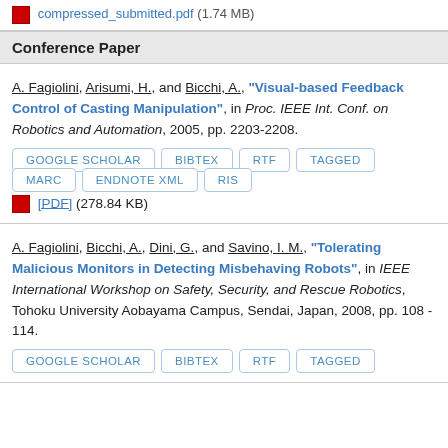compressed_submitted.pdf (1.74 MB)
Conference Paper
A. Fagiolini, Arisumi, H., and Bicchi, A., "Visual-based Feedback Control of Casting Manipulation", in Proc. IEEE Int. Conf. on Robotics and Automation, 2005, pp. 2203-2208.
GOOGLE SCHOLAR
BIBTEX
RTF
TAGGED
MARC
ENDNOTE XML
RIS
[PDF] (278.84 KB)
A. Fagiolini, Bicchi, A., Dini, G., and Savino, I. M., "Tolerating Malicious Monitors in Detecting Misbehaving Robots", in IEEE International Workshop on Safety, Security, and Rescue Robotics, Tohoku University Aobayama Campus, Sendai, Japan, 2008, pp. 108 - 114.
GOOGLE SCHOLAR
BIBTEX
RTF
TAGGED